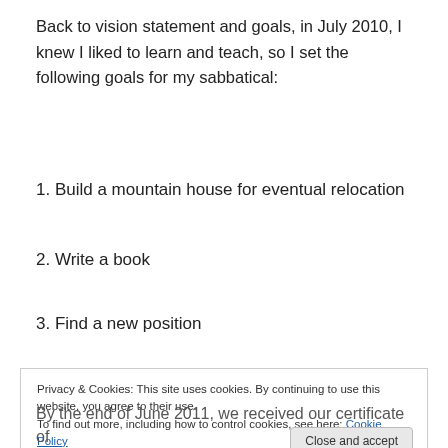Back to vision statement and goals, in July 2010, I knew I liked to learn and teach, so I set the following goals for my sabbatical:
1. Build a mountain house for eventual relocation
2. Write a book
3. Find a new position
[Figure (photo): Partial photo of a mountain house exterior with dark wood frames and snowy/wintry background]
Privacy & Cookies: This site uses cookies. By continuing to use this website, you agree to their use.
To find out more, including how to control cookies, see here: Cookie Policy
By the end of June 2011, we received our certificate of